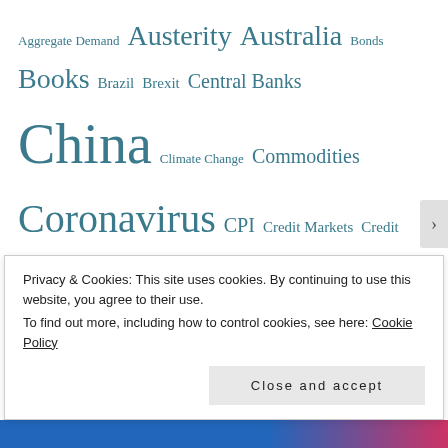Aggregate Demand Austerity Australia Bonds Books Brazil Brexit Central Banks China Climate Change Commodities Coronavirus CPI Credit Markets Credit Rating Agencies Current Account Dairy Debt Debt Crisis Eco Indicators econoMAX Elasticity Euro Crisis European Economies Game Theory Germany Gini Coefficient Global Financial Crisis Gold Greece Happiness Housing Market India Ireland Japan Keynesian Policy
Privacy & Cookies: This site uses cookies. By continuing to use this website, you agree to their use. To find out more, including how to control cookies, see here: Cookie Policy
Close and accept